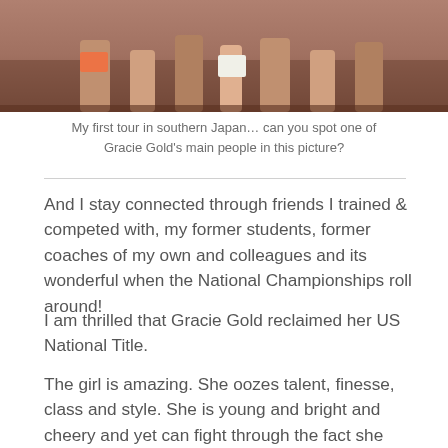[Figure (photo): A group photo of people in athletic/sports attire, cropped at the legs, appearing to be in southern Japan on a tour.]
My first tour in southern Japan… can you spot one of Gracie Gold's main people in this picture?
And I stay connected through friends I trained & competed with, my former students, former coaches of my own and colleagues and its wonderful when the National Championships roll around!
I am thrilled that Gracie Gold reclaimed her US National Title.
The girl is amazing. She oozes talent, finesse, class and style. She is young and bright and cheery and yet can fight through the fact she singled her opening triple lutz in the short program putting her in 2nd place to